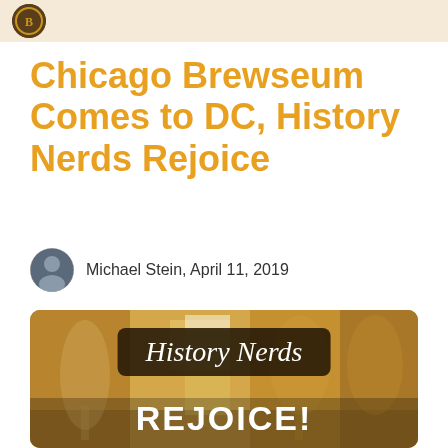Chicago Brewseum Comes to DC, History Nerds Rejoice
Michael Stein, April 11, 2019
[Figure (photo): Photo of several beer glasses on a table with text overlay 'History Nerds REJOICE!']